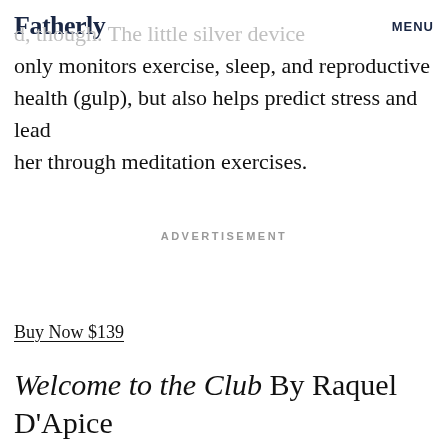Fatherly MENU
d, though. The little silver device only monitors exercise, sleep, and reproductive health (gulp), but also helps predict stress and lead her through meditation exercises.
ADVERTISEMENT
Buy Now $139
Welcome to the Club By Raquel D'Apice